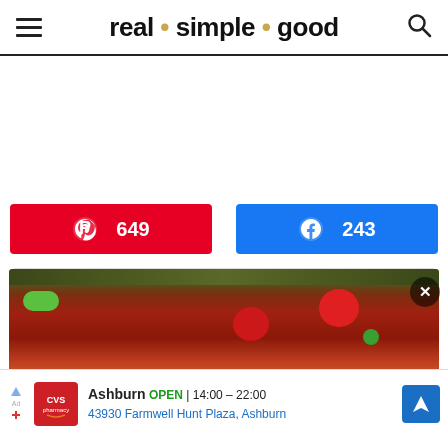real · simple · good
[Figure (other): White/blank advertisement space placeholder]
[Figure (infographic): Pinterest share button (red) showing 649 shares and Facebook share button (blue) showing 243 shares]
[Figure (photo): Food photo showing a dark bowl with red tomatoes in a sauce, green chips, sesame seeds on top]
[Figure (screenshot): CVS Pharmacy ad banner: Ashburn OPEN 14:00-22:00, 43930 Farmwell Hunt Plaza, Ashburn]